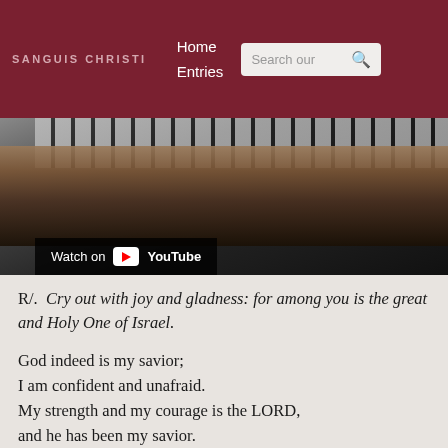SANGUIS CHRISTI | Home | Entries | Search our
[Figure (screenshot): YouTube embedded video thumbnail showing hands playing a keyboard/piano instrument, with a 'Watch on YouTube' overlay bar at the bottom left.]
R/.  Cry out with joy and gladness: for among you is the great and Holy One of Israel.
God indeed is my savior;
I am confident and unafraid.
My strength and my courage is the LORD,
and he has been my savior.
With joy you will draw water
at the fountain of salvation.
Give thanks to the LORD, acclaim his name;